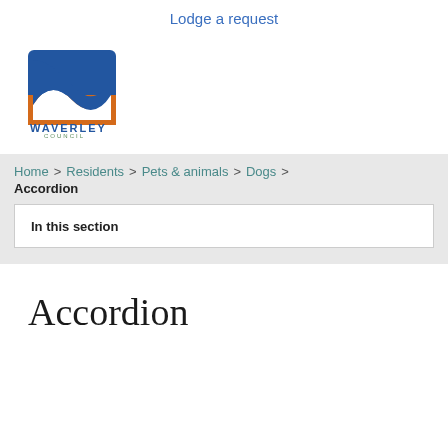Lodge a request
[Figure (logo): Waverley Council logo — blue shield shape with orange wave, text WAVERLEY COUNCIL below]
Home > Residents > Pets & animals > Dogs > Accordion
In this section
Accordion